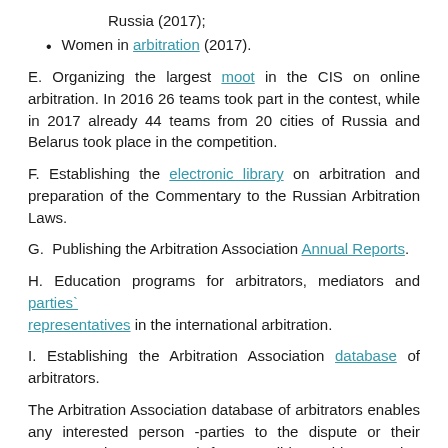Russia (2017);
Women in arbitration (2017).
E. Organizing the largest moot in the CIS on online arbitration. In 2016 26 teams took part in the contest, while in 2017 already 44 teams from 20 cities of Russia and Belarus took place in the competition.
F. Establishing the electronic library on arbitration and preparation of the Commentary to the Russian Arbitration Laws.
G. Publishing the Arbitration Association Annual Reports.
H. Education programs for arbitrators, mediators and parties' representatives in the international arbitration.
I. Establishing the Arbitration Association database of arbitrators.
The Arbitration Association database of arbitrators enables any interested person -parties to the dispute or their representatives- to search for a candidate arbitrator using a number of criteria, for example, citizenship, place of residence, knowledge of languages, areas of specialization, jurisdiction or experience in arbitration or litigation.